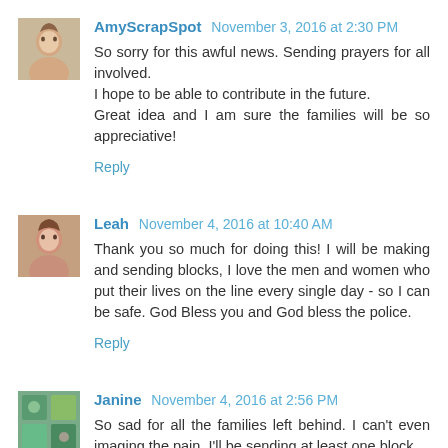AmyScrapSpot November 3, 2016 at 2:30 PM
So sorry for this awful news. Sending prayers for all involved.
I hope to be able to contribute in the future.
Great idea and I am sure the families will be so appreciative!
Reply
Leah November 4, 2016 at 10:40 AM
Thank you so much for doing this! I will be making and sending blocks, I love the men and women who put their lives on the line every single day - so I can be safe. God Bless you and God bless the police.
Reply
Janine November 4, 2016 at 2:56 PM
So sad for all the families left behind. I can't even imaging the pain. I'll be sending at least one block.